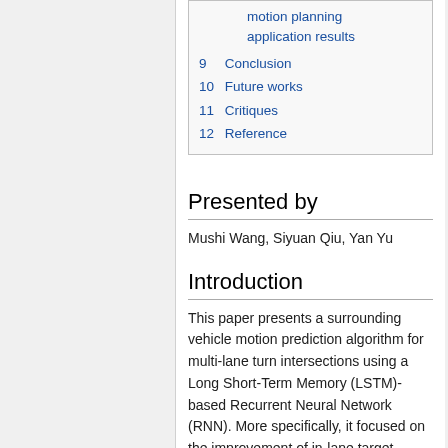8.1.2 Statistical analysis of motion planning application results
9  Conclusion
10  Future works
11  Critiques
12  Reference
Presented by
Mushi Wang, Siyuan Qiu, Yan Yu
Introduction
This paper presents a surrounding vehicle motion prediction algorithm for multi-lane turn intersections using a Long Short-Term Memory (LSTM)-based Recurrent Neural Network (RNN). More specifically, it focused on the improvement of in-lane target recognition